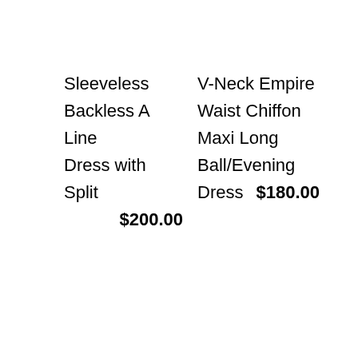Sleeveless Backless A Line Dress with Split $200.00   V-Neck Empire Waist Chiffon Maxi Long Ball/Evening Dress $180.00